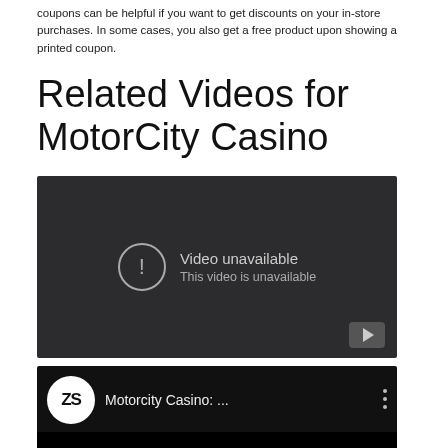coupons can be helpful if you want to get discounts on your in-store purchases. In some cases, you also get a free product upon showing a printed coupon.
Related Videos for MotorCity Casino
[Figure (screenshot): YouTube video embed showing 'Video unavailable - This video is unavailable' message on a dark background with a YouTube play button in the bottom right corner.]
[Figure (screenshot): YouTube video embed showing a second video titled 'Motorcity Casino: ...' with a ZS channel logo (white circle with ZS letters) and a three-dot menu icon, black video area below.]